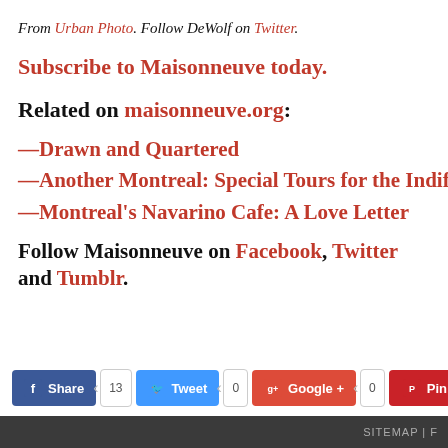From Urban Photo. Follow DeWolf on Twitter.
Subscribe to Maisonneuve today.
Related on maisonneuve.org:
—Drawn and Quartered
—Another Montreal: Special Tours for the Indifferent Tra…
—Montreal's Navarino Cafe: A Love Letter
Follow Maisonneuve on Facebook, Twitter and Tumblr.
SITEMAP | F